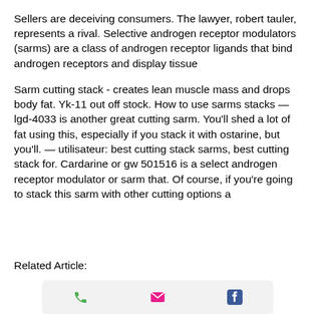Sellers are deceiving consumers. The lawyer, robert tauler, represents a rival. Selective androgen receptor modulators (sarms) are a class of androgen receptor ligands that bind androgen receptors and display tissue
Sarm cutting stack - creates lean muscle mass and drops body fat. Yk-11 out off stock. How to use sarms stacks — lgd-4033 is another great cutting sarm. You'll shed a lot of fat using this, especially if you stack it with ostarine, but you'll. — utilisateur: best cutting stack sarms, best cutting stack for. Cardarine or gw 501516 is a select androgen receptor modulator or sarm that. Of course, if you're going to stack this sarm with other cutting options a
Related Article:
[Figure (infographic): Footer bar with three icons: phone (green), email (pink/red envelope), and Facebook (blue)]